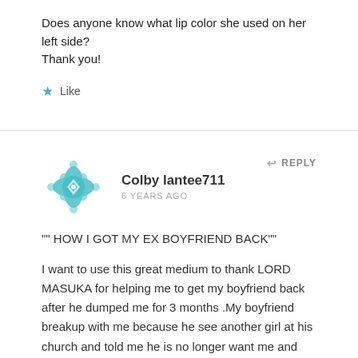Does anyone know what lip color she used on her left side? Thank you!
★ Like
Colby lantee711
6 YEARS AGO
REPLY
"" HOW I GOT MY EX BOYFRIEND BACK""
I want to use this great medium to thank LORD MASUKA for helping me to get my boyfriend back after he dumped me for 3 months .My boyfriend breakup with me because he see another girl at his church and told me he is no longer want me and live me in pain and heart break.I seek for help on the internet and i saw